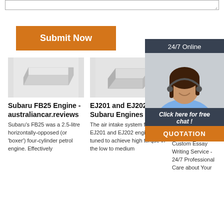[Figure (screenshot): Top textarea input field (partial, cropped at top)]
[Figure (other): Orange Submit Now button]
[Figure (photo): Product image - metallic rectangular block (Subaru FB25 Engine)]
Subaru FB25 Engine - australiancar.reviews
Subaru's FB25 was a 2.5-litre horizontally-opposed (or 'boxer') four-cylinder petrol engine. Effectively
[Figure (photo): Product image - metallic rectangular block (EJ201 and EJ202 Subaru Engines)]
EJ201 and EJ202 Subaru Engines
The air intake system for the EJ201 and EJ202 engines was tuned to achieve high torque in the low to medium
[Figure (photo): Partial product image - metallic block (Essay article)]
Essay Foundation Custom Writing Service - 24/7
... Custom Essay Writing Service - 24/7 Professional Care about Your
[Figure (infographic): 24/7 Online chat widget overlay with agent photo and QUOTATION button]